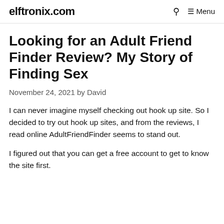elftronix.com  🔍  ☰ Menu
Looking for an Adult Friend Finder Review? My Story of Finding Sex
November 24, 2021 by David
I can never imagine myself checking out hook up site. So I decided to try out hook up sites, and from the reviews, I read online AdultFriendFinder seems to stand out.
I figured out that you can get a free account to get to know the site first.